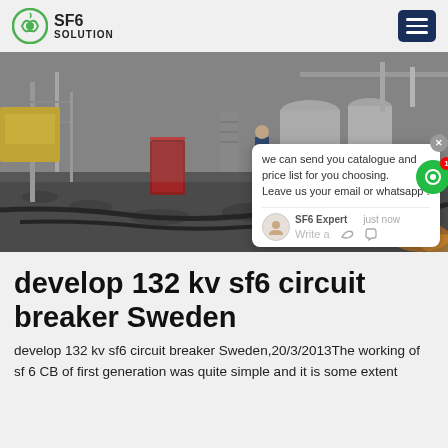SF6 SOLUTION
[Figure (photo): Industrial electrical substation with SF6 circuit breakers, cables on gravel ground, workers in background, large cylindrical equipment tanks visible]
we can send you catalogue and price list for you choosing. Leave us your email or whatsapp . SF6 Expert   just now Write a
develop 132 kv sf6 circuit breaker Sweden
develop 132 kv sf6 circuit breaker Sweden,20/3/2013The working of sf 6 CB of first generation was quite simple and it is some extent